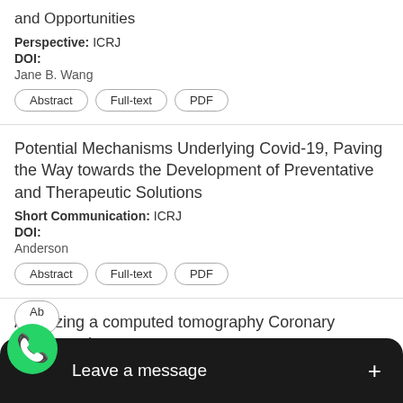and Opportunities
Perspective: ICRJ
DOI:
Jane B. Wang
Abstract  Full-text  PDF
Potential Mechanisms Underlying Covid-19, Paving the Way towards the Development of Preventative and Therapeutic Solutions
Short Communication: ICRJ
DOI:
Anderson
Abstract  Full-text  PDF
Analyzing a computed tomography Coronary Angiography
Short Communication: ICRJ
Hate...
[Figure (screenshot): WhatsApp 'Leave a message' chat bubble overlay at bottom of screen]